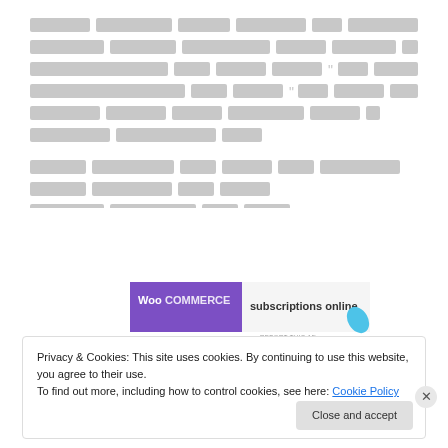[Redacted/blurred text block 1 - appears to be body paragraph in non-Latin script]
[Redacted/blurred text block 2 - appears to be body paragraph in non-Latin script]
[Figure (screenshot): WooCommerce advertisement banner showing 'subscriptions online' text with a blue leaf logo and purple WooCommerce branding]
Privacy & Cookies: This site uses cookies. By continuing to use this website, you agree to their use.
To find out more, including how to control cookies, see here: Cookie Policy
Close and accept